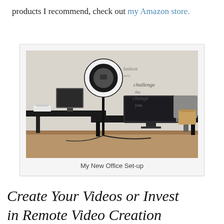products I recommend, check out my Amazon store.
[Figure (photo): Home office setup showing a desk with a large curved monitor, ring light on a stand, and motivational wall text in background reading 'challenge' and 'change'. A gray office chair is visible to the right.]
My New Office Set-up
Create Your Videos or Invest in Remote Video Creation